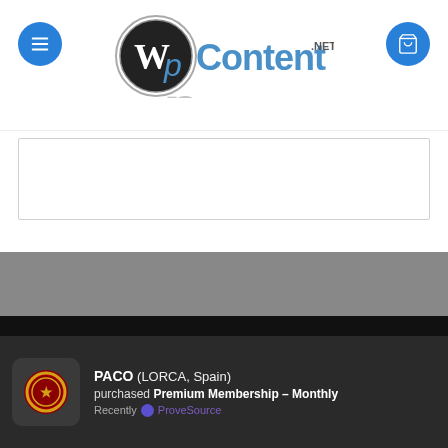WPContent.NET - header with menu and cart buttons
[Figure (screenshot): Empty content box with border]
[Figure (screenshot): Gray section placeholder area]
ABOUT US  CONTACT US  GPL LICENSE  REFUND POLICY  TERMS & CONDITIONS  FAQS  PRIVACY POLICY
Copyright 2024 WPCONTENT.NET
[Figure (screenshot): Product promo popup showing $25.00 crossed out and $4.49 sale price]
PACO (LORCA, Spain) purchased Premium Membership – Monthly Recently ProveSource